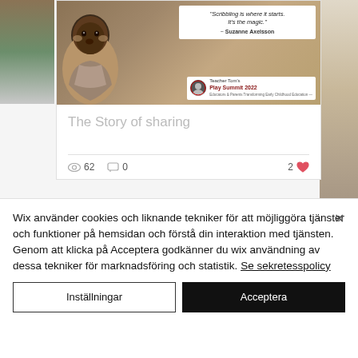[Figure (screenshot): Screenshot of a website card showing an article titled 'The Story of sharing' with a quote by Suzanne Axelsson and Teacher Tom's Play Summit 2022 branding. Shows view count 62, comment count 0, and 2 likes.]
Wix använder cookies och liknande tekniker för att möjliggöra tjänster och funktioner på hemsidan och förstå din interaktion med tjänsten. Genom att klicka på Acceptera godkänner du wix användning av dessa tekniker för marknadsföring och statistik. Se sekretesspolicy
Inställningar
Acceptera